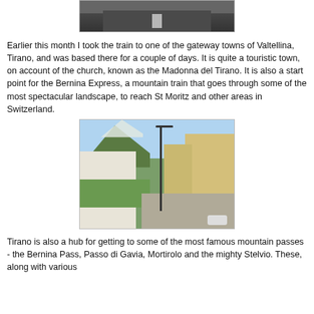[Figure (photo): Top partial photo showing a road or tunnel scene, cropped]
Earlier this month I took the train to one of the gateway towns of Valtellina, Tirano, and was based there for a couple of days. It is quite a touristic town, on account of the church, known as the Madonna del Tirano. It is also a start point for the Bernina Express, a mountain train that goes through some of the most spectacular landscape, to reach St Moritz and other areas in Switzerland.
[Figure (photo): Street scene in Tirano showing white Alpine-style hotel building on left, yellow buildings on right, snow-capped mountains in background, lamppost in center]
Tirano is also a hub for getting to some of the most famous mountain passes - the Bernina Pass, Passo di Gavia, Mortirolo and the mighty Stelvio. These, along with various